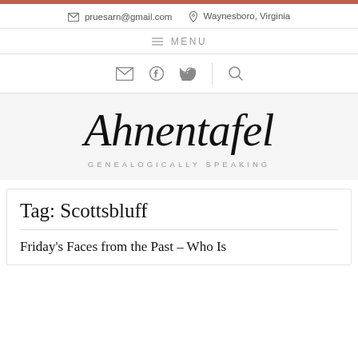✉ pruesarn@gmail.com  📍 Waynesboro, Virginia
≡ MENU
[Figure (other): Social icons: email, facebook, twitter, search]
Ahnentafel
GENEALOGICALLY SPEAKING
Tag: Scottsbluff
Friday's Faces from the Past – Who Is